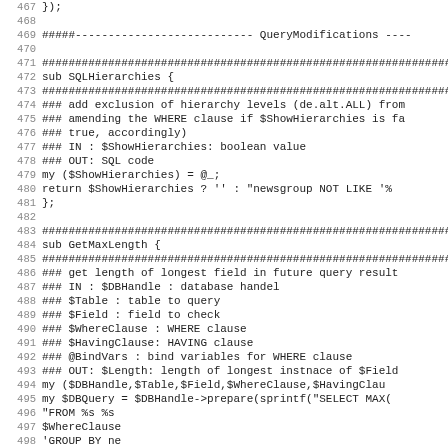Source code listing, lines 467-499, Perl subroutines SQLHierarchies and GetMaxLength with comments and code
[Figure (screenshot): Perl source code lines 467-499 showing subroutine definitions for SQLHierarchies and GetMaxLength with documentation comments]